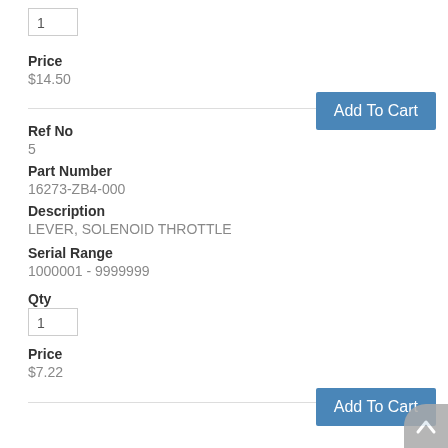Qty input: 1
Price
$14.50
Add To Cart
Ref No
5
Part Number
16273-ZB4-000
Description
LEVER, SOLENOID THROTTLE
Serial Range
1000001 - 9999999
Qty
Qty input: 1
Price
$7.22
Add To Cart